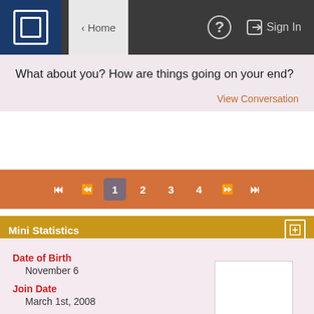[Figure (screenshot): Navigation bar with logo, Home button, help icon, and Sign In button on dark background]
What about you? How are things going on your end?
View Conversation
1  2  3  4
Mini Statistics
Date of Birth
November 6
Join Date
March 1st, 2008
Total Posts
16,665
Blog Entries
63
Show All Statistics
Recent Visitors
The last 30 visitor(s) to this page were: